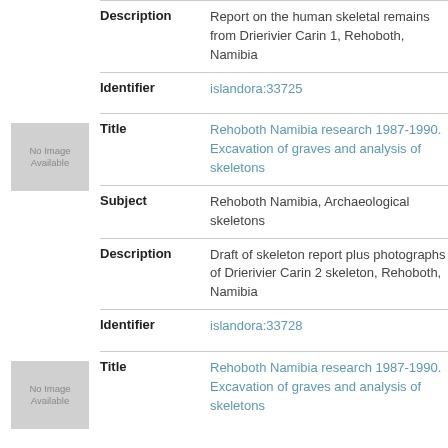Description: Report on the human skeletal remains from Drierivier Carin 1, Rehoboth, Namibia
Identifier: islandora:33725
[Figure (other): No Image Available placeholder thumbnail]
Title: Rehoboth Namibia research 1987-1990. Excavation of graves and analysis of skeletons
Subject: Rehoboth Namibia, Archaeological skeletons
Description: Draft of skeleton report plus photographs of Drierivier Carin 2 skeleton, Rehoboth, Namibia
Identifier: islandora:33728
[Figure (other): No Image Available placeholder thumbnail]
Title: Rehoboth Namibia research 1987-1990. Excavation of graves and analysis of skeletons